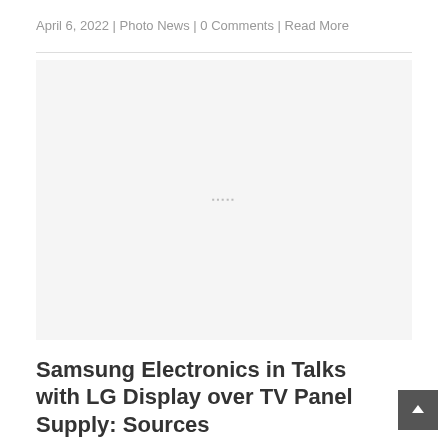April 6, 2022 | Photo News | 0 Comments | Read More
[Figure (photo): Large image placeholder area, light gray background with faint watermark text in center]
Samsung Electronics in Talks with LG Display over TV Panel Supply: Sources